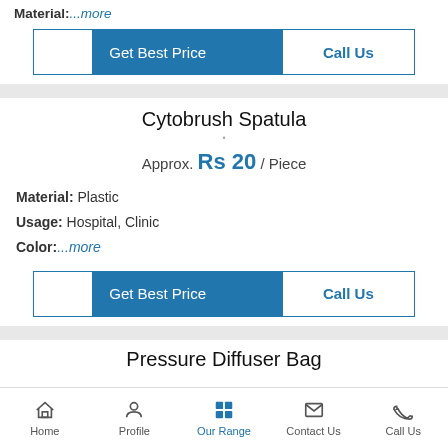Material:...more
[Figure (other): Get Best Price and Call Us buttons row]
Cytobrush Spatula
Approx. Rs 20 / Piece
Material: Plastic
Usage: Hospital, Clinic
Color:...more
[Figure (other): Get Best Price and Call Us buttons row]
Pressure Diffuser Bag
Home | Profile | Our Range | Contact Us | Call Us